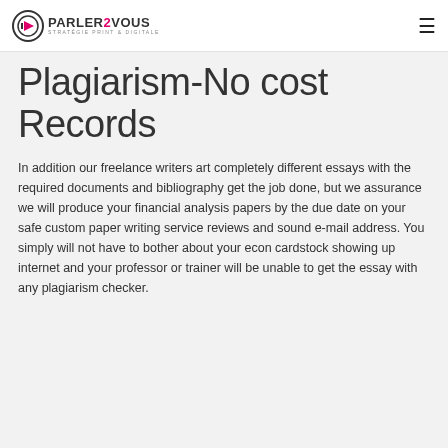PARLER2VOUS STRATÉGIE PRINT & DIGITALE
Plagiarism-No cost Records
In addition our freelance writers art completely different essays with the required documents and bibliography get the job done, but we assurance we will produce your financial analysis papers by the due date on your safe custom paper writing service reviews and sound e-mail address. You simply will not have to bother about your econ cardstock showing up internet and your professor or trainer will be unable to get the essay with any plagiarism checker.